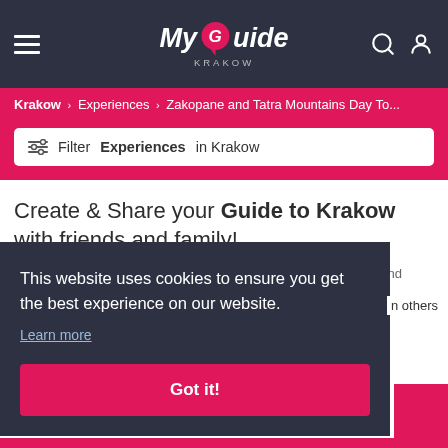My Guide KRAKOW
Krakow > Experiences > Zakopane and Tatra Mountains Day To...
Filter Experiences in Krakow
Create & Share your Guide to Krakow with friends and family!
Add your recommended places to visit by browsing the website and
This website uses cookies to ensure you get the best experience on our website.
Learn more
n others
Got it!